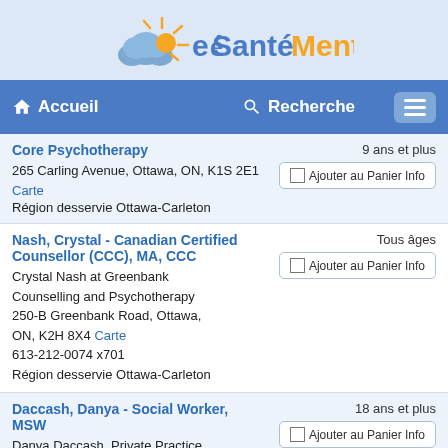[Figure (logo): eSantéMentale.ca logo with cloud and sun icon]
Accueil   Recherche   [menu]
Core Psychotherapy | 9 ans et plus | 265 Carling Avenue, Ottawa, ON, K1S 2E1 Carte | Région desservie Ottawa-Carleton | Ajouter au Panier Info
Nash, Crystal - Canadian Certified Counsellor (CCC), MA, CCC | Tous âges | Crystal Nash at Greenbank Counselling and Psychotherapy | 250-B Greenbank Road, Ottawa, ON, K2H 8X4 Carte | 613-212-0074 x701 | Région desservie Ottawa-Carleton | Ajouter au Panier Info
Daccash, Danya - Social Worker, MSW | 18 ans et plus | Danya Daccash, Private Practice | Ajouter au Panier Info